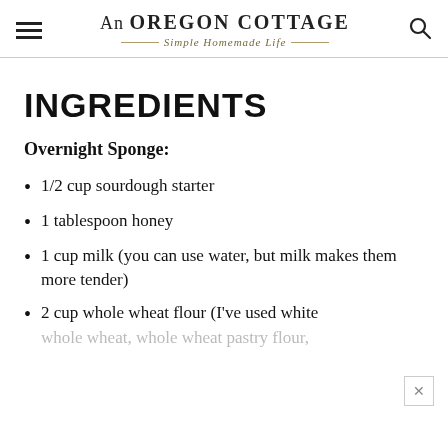An OREGON COTTAGE — Simple Homemade Life —
INGREDIENTS
Overnight Sponge:
1/2 cup sourdough starter
1 tablespoon honey
1 cup milk (you can use water, but milk makes them more tender)
2 cup whole wheat flour (I've used white whole wheat, whole wheat pastry flour,